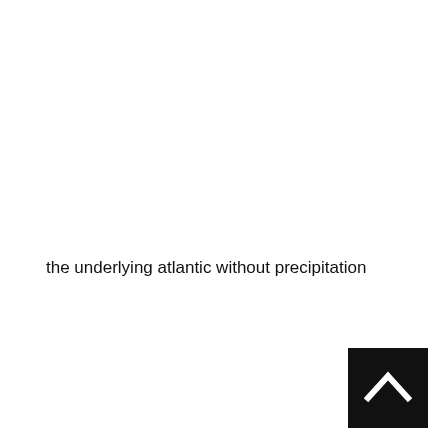the underlying atlantic without precipitation
[Figure (other): Black square button with a white upward-pointing chevron/arrow icon, positioned in the bottom-right corner of the page.]